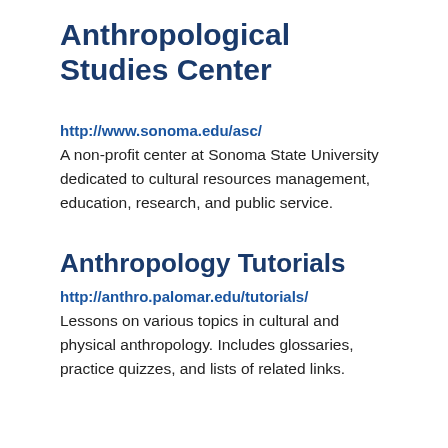Anthropological Studies Center
http://www.sonoma.edu/asc/
A non-profit center at Sonoma State University dedicated to cultural resources management, education, research, and public service.
Anthropology Tutorials
http://anthro.palomar.edu/tutorials/
Lessons on various topics in cultural and physical anthropology. Includes glossaries, practice quizzes, and lists of related links.